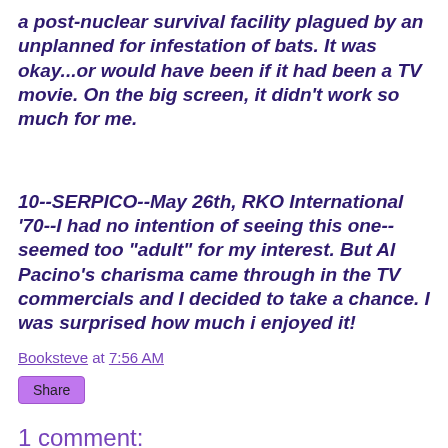a post-nuclear survival facility plagued by an unplanned for infestation of bats. It was okay...or would have been if it had been a TV movie. On the big screen, it didn't work so much for me.
10--SERPICO--May 26th, RKO International '70--I had no intention of seeing this one--seemed too "adult" for my interest. But Al Pacino's charisma came through in the TV commercials and I decided to take a chance. I was surprised how much i enjoyed it!
Booksteve at 7:56 AM
Share
1 comment: